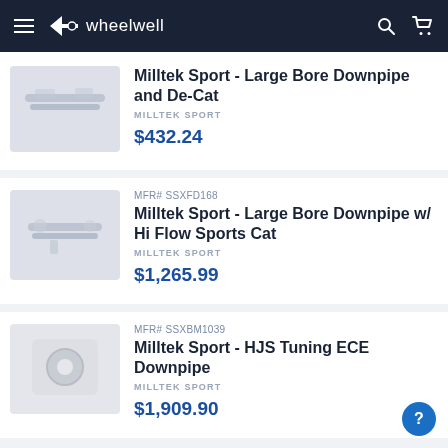wheelwell
Milltek Sport - Large Bore Downpipe and De-Cat
MILLTEK SPORT
$432.24
MFR# SSXFD168
Milltek Sport - Large Bore Downpipe w/ Hi Flow Sports Cat
MILLTEK SPORT
$1,265.99
MFR# SSXBM1039
Milltek Sport - HJS Tuning ECE Downpipe
MILLTEK SPORT
$1,909.90